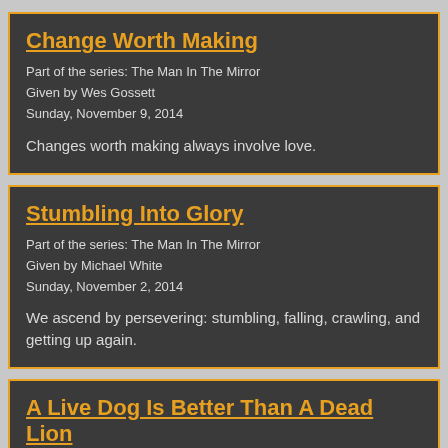Change Worth Making
Part of the series: The Man In The Mirror
Given by Wes Gossett
Sunday, November 9, 2014
Changes worth making always involve love.
Stumbling Into Glory
Part of the series: The Man In The Mirror
Given by Michael White
Sunday, November 2, 2014
We ascend by persevering: stumbling, falling, crawling, and getting up again.
A Live Dog Is Better Than A Dead Lion
Given by Michael White
Sunday, October 26, 2014
The tough things that you go through in life make you even tougher.